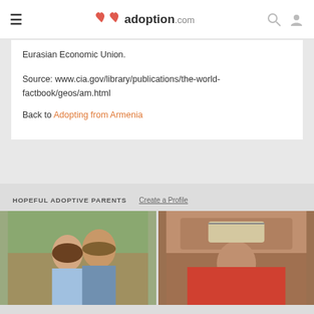adoption.com
Eurasian Economic Union.
Source: www.cia.gov/library/publications/the-world-factbook/geos/am.html
Back to Adopting from Armenia
HOPEFUL ADOPTIVE PARENTS
[Figure (photo): Photo of a smiling couple outdoors, woman and man, appearing cheerful]
[Figure (photo): Photo of a woman wearing a cap and red top, smiling outdoors in a rocky setting]